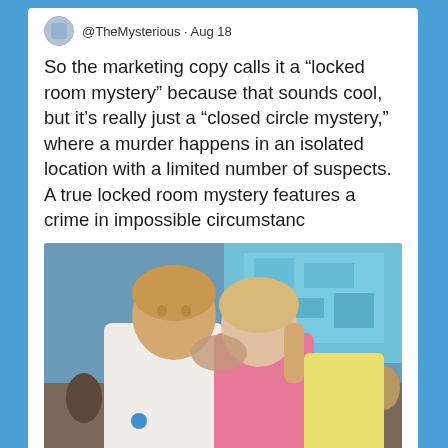@TheMysterious · Aug 18
So the marketing copy calls it a “locked room mystery” because that sounds cool, but it’s really just a “closed circle mystery,” where a murder happens in an isolated location with a limited number of suspects. A true locked room mystery features a crime in impossible circumstanc
[Figure (photo): Two young people at an outdoor event or concert, a young man in a white shirt and a young woman in a pink top, appear to be kissing or very close face-to-face, with a crowd and bright screen visible in the background.]
6  84
The Puzzle Doctor 💙 Retweeted